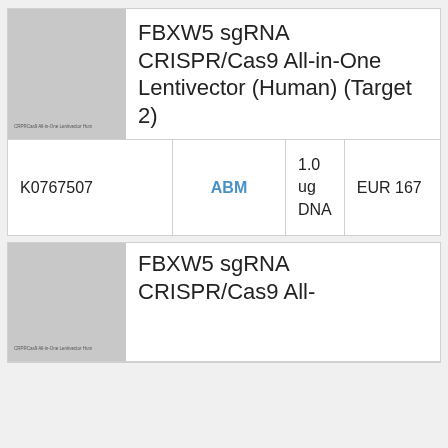[Figure (photo): Product image placeholder for FBXW5 sgRNA CRISPR/Cas9 All-in-One Lentivector (Human) (Target 2) with label text 'CRPRCas9 All-in-One Lentivector Human']
FBXW5 sgRNA CRISPR/Cas9 All-in-One Lentivector (Human) (Target 2)
| SKU | Brand | Quantity | Price |
| --- | --- | --- | --- |
| K0767507 | ABM | 1.0 ug DNA | EUR 167 |
[Figure (photo): Product image placeholder for second FBXW5 sgRNA CRISPR/Cas9 All-in-One Lentivector listing with label text 'CRPRCas9 All-in-One Lentivector Human']
FBXW5 sgRNA CRISPR/Cas9 All-